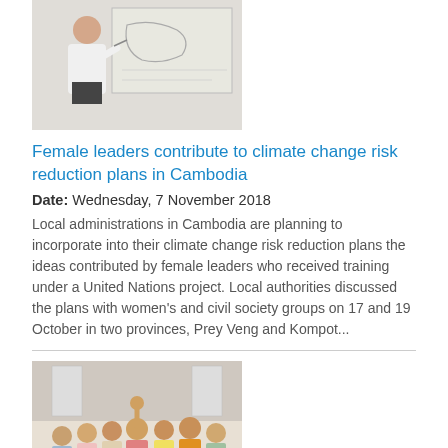[Figure (photo): A woman in a white jacket presenting at a whiteboard with a map or diagram.]
Female leaders contribute to climate change risk reduction plans in Cambodia
Date: Wednesday, 7 November 2018
Local administrations in Cambodia are planning to incorporate into their climate change risk reduction plans the ideas contributed by female leaders who received training under a United Nations project. Local authorities discussed the plans with women's and civil society groups on 17 and 19 October in two provinces, Prey Veng and Kompot...
[Figure (photo): A group of women, some in colorful traditional clothes, gathered together in what appears to be an indoor meeting or event.]
Promoting women leaders in Timor-Leste as elections approach